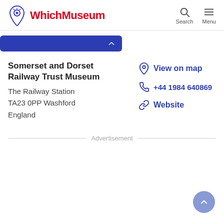WhichMuseum
Somerset and Dorset Railway Trust Museum
The Railway Station
TA23 0PP Washford
England
View on map
+44 1984 640869
Website
Advertisement